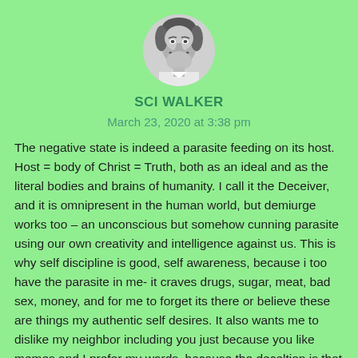[Figure (photo): Circular avatar photo of a person with a mustache, black and white image]
SCI WALKER
March 23, 2020 at 3:38 pm
The negative state is indeed a parasite feeding on its host. Host = body of Christ = Truth, both as an ideal and as the literal bodies and brains of humanity. I call it the Deceiver, and it is omnipresent in the human world, but demiurge works too – an unconscious but somehow cunning parasite using our own creativity and intelligence against us. This is why self discipline is good, self awareness, because i too have the parasite in me- it craves drugs, sugar, meat, bad sex, money, and for me to forget its there or believe these are things my authentic self desires. It also wants me to dislike my neighbor including you just because you like memes and I prefer my words, because the deceltion is that we are nothing alike and